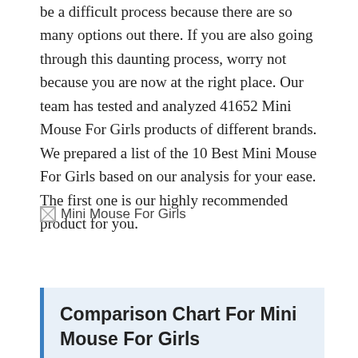be a difficult process because there are so many options out there. If you are also going through this daunting process, worry not because you are now at the right place. Our team has tested and analyzed 41652 Mini Mouse For Girls products of different brands. We prepared a list of the 10 Best Mini Mouse For Girls based on our analysis for your ease. The first one is our highly recommended product for you.
[Figure (photo): Broken image placeholder with alt text 'Mini Mouse For Girls']
Comparison Chart For Mini Mouse For Girls